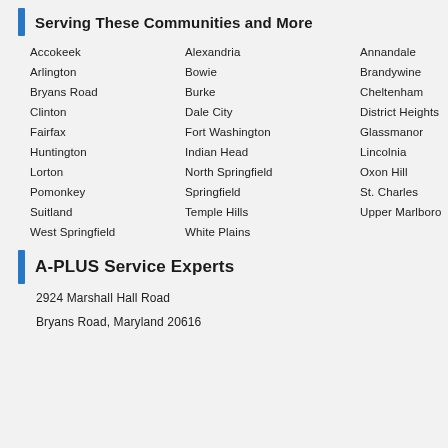Serving These Communities and More
Accokeek
Alexandria
Annandale
Arlington
Bowie
Brandywine
Bryans Road
Burke
Cheltenham
Clinton
Dale City
District Heights
Fairfax
Fort Washington
Glassmanor
Huntington
Indian Head
Lincolnia
Lorton
North Springfield
Oxon Hill
Pomonkey
Springfield
St. Charles
Suitland
Temple Hills
Upper Marlboro
West Springfield
White Plains
A-PLUS Service Experts
2924 Marshall Hall Road
Bryans Road, Maryland 20616